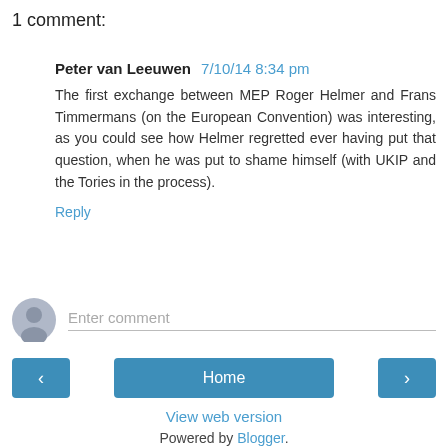1 comment:
Peter van Leeuwen  7/10/14 8:34 pm
The first exchange between MEP Roger Helmer and Frans Timmermans (on the European Convention) was interesting, as you could see how Helmer regretted ever having put that question, when he was put to shame himself (with UKIP and the Tories in the process).
Reply
Enter comment
Home
View web version
Powered by Blogger.